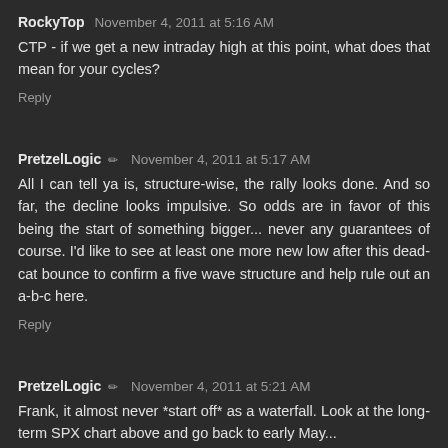RockyTop  November 4, 2011 at 5:16 AM
CTP - if we get a new intraday high at this point, what does that mean for your cycles?
Reply
PretzelLogic  ✏  November 4, 2011 at 5:17 AM
All I can tell ya is, structure-wise, the rally looks done. And so far, the decline looks impulsive. So odds are in favor of this being the start of something bigger... never any guarantees of course. I'd like to see at least one more new low after this dead-cat bounce to confirm a five wave structure and help rule out an a-b-c here.
Reply
PretzelLogic  ✏  November 4, 2011 at 5:21 AM
Frank, it almost never *start off* as a waterfall. Look at the long-term SPX chart above and go back to early May...